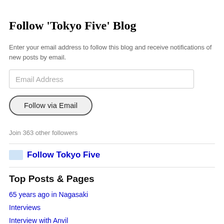Follow 'Tokyo Five' Blog
Enter your email address to follow this blog and receive notifications of new posts by email.
Email Address
Follow via Email
Join 363 other followers
Follow Tokyo Five
Top Posts & Pages
65 years ago in Nagasaki
Interviews
Interview with Anvil